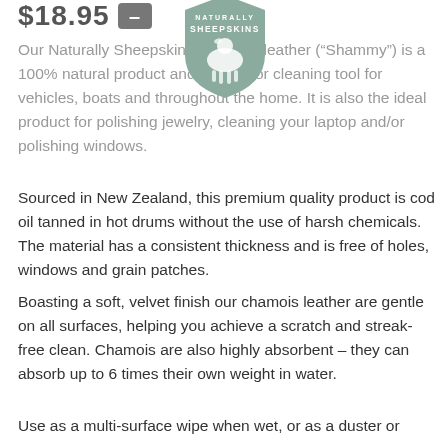$18.95 —
[Figure (logo): Naturally Sheepskins circular logo in sage green with sheep silhouette]
Our Naturally Sheepskins Chamois leather (“Shammy”) is a 100% natural product and a superior cleaning tool for vehicles, boats and throughout the home. It is also the ideal product for polishing jewelry, cleaning your laptop and/or polishing windows.
Sourced in New Zealand, this premium quality product is cod oil tanned in hot drums without the use of harsh chemicals. The material has a consistent thickness and is free of holes, windows and grain patches.
Boasting a soft, velvet finish our chamois leather are gentle on all surfaces, helping you achieve a scratch and streak-free clean. Chamois are also highly absorbent – they can absorb up to 6 times their own weight in water.
Use as a multi-surface wipe when wet, or as a duster or